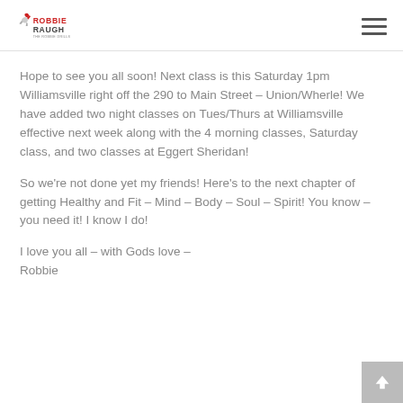Robbie Raugh logo and navigation menu
Hope to see you all soon!  Next class is this Saturday 1pm Williamsville right off the 290 to Main Street – Union/Wherle!  We have added two night classes on Tues/Thurs at Williamsville effective next week along with the 4 morning classes, Saturday class, and two classes at Eggert Sheridan!
So we're not done yet my friends!  Here's to the next chapter of getting Healthy and Fit – Mind – Body – Soul – Spirit!  You know – you need it!  I know I do!
I love you all – with Gods love –
Robbie